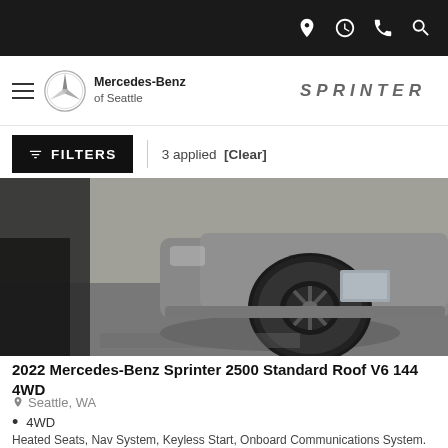Mercedes-Benz of Seattle — Sprinter
FILTERS | 3 applied [Clear]
[Figure (photo): Close-up photo of a vehicle's front wheel and bumper area, showing a large black off-road tire and grey bumper, parked on asphalt in daylight.]
2022 Mercedes-Benz Sprinter 2500 Standard Roof V6 144 4WD
Seattle, WA
4WD
Heated Seats, Nav System, Keyless Start, Onboard Communications System. Sprinter Cargo Van trim, Brilliant Blue exterior and Black interior.